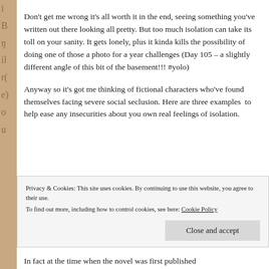Don't get me wrong it's all worth it in the end, seeing something you've written out there looking all pretty. But too much isolation can take its toll on your sanity. It gets lonely, plus it kinda kills the possibility of doing one of those a photo for a year challenges (Day 105 – a slightly different angle of this bit of the basement!!! #yolo)
Anyway so it's got me thinking of fictional characters who've found themselves facing severe social seclusion. Here are three examples  to help ease any insecurities about you own real feelings of isolation.
Privacy & Cookies: This site uses cookies. By continuing to use this website, you agree to their use.
To find out more, including how to control cookies, see here: Cookie Policy
Close and accept
In fact at the time when the novel was first published